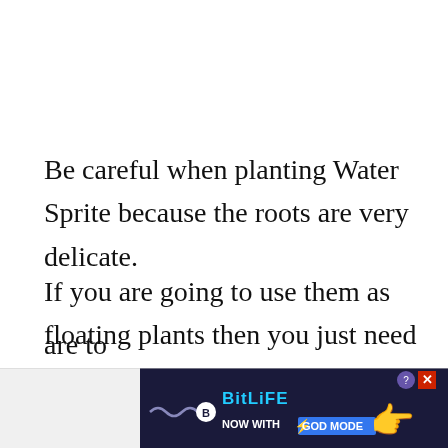Be careful when planting Water Sprite because the roots are very delicate.
If you are going to use them as floating plants then you just need to place them on the surface of the water. Over time the roots will begin to grow downwards to take advantage of the nutrients from the water below. The leaves will also begin to grow slightly larger and wider because of how close they are to
[Figure (screenshot): BitLife advertisement banner at the bottom of the page reading 'BitLife NOW WITH GOD MODE' with a hand pointing graphic and close button]